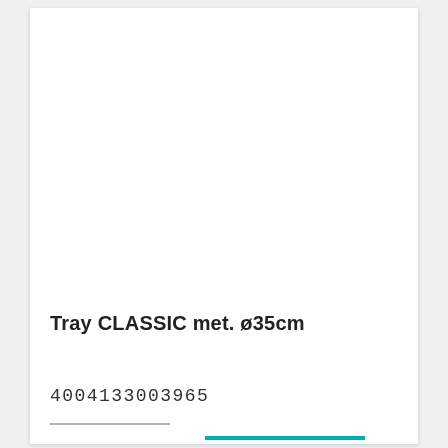Tray CLASSIC met. ø35cm
4004133003965